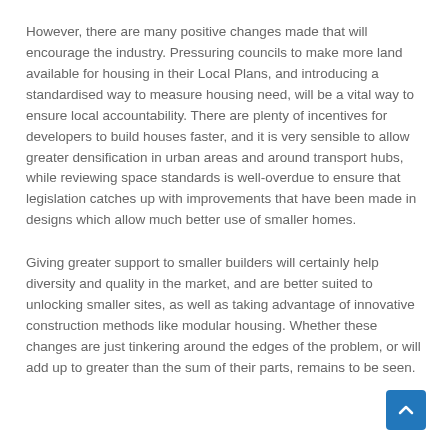However, there are many positive changes made that will encourage the industry. Pressuring councils to make more land available for housing in their Local Plans, and introducing a standardised way to measure housing need, will be a vital way to ensure local accountability. There are plenty of incentives for developers to build houses faster, and it is very sensible to allow greater densification in urban areas and around transport hubs, while reviewing space standards is well-overdue to ensure that legislation catches up with improvements that have been made in designs which allow much better use of smaller homes.
Giving greater support to smaller builders will certainly help diversity and quality in the market, and are better suited to unlocking smaller sites, as well as taking advantage of innovative construction methods like modular housing. Whether these changes are just tinkering around the edges of the problem, or will add up to greater than the sum of their parts, remains to be seen.